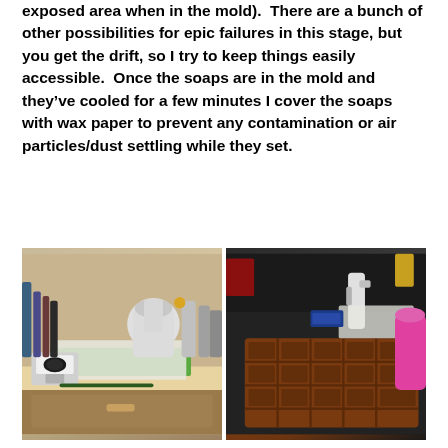exposed area when in the mold).  There are a bunch of other possibilities for epic failures in this stage, but you get the drift, so I try to keep things easily accessible.  Once the soaps are in the mold and they've cooled for a few minutes I cover the soaps with wax paper to prevent any contamination or air particles/dust settling while they set.
[Figure (photo): Left photo: A kitchen counter workspace showing a stand mixer, various bottles and tools, a kitchen scale, a green cutting board or tray with wax paper on top, and a pen/marker.]
[Figure (photo): Right photo: A dark stovetop surface with silicone soap molds (brown/chocolate colored rectangular molds with grid pattern), a spray bottle, wax paper, and a pink silicone bowl or cup.]